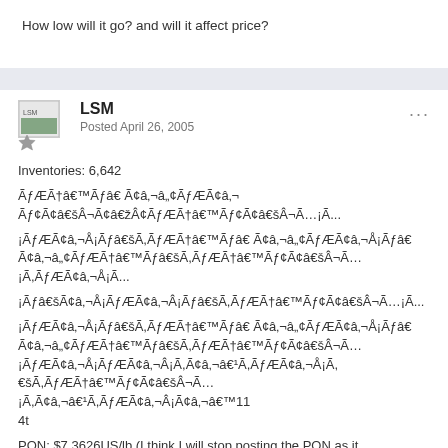How low will it go? and will it affect price?
LSM
Posted April 26, 2005
Inventories: 6,642
ÃƒÆÃ†â€™Ãƒâ€ Ã¢â‚¬â„¢ÃƒÆÃ¢â‚¬ Ãƒ¢Ã¢â€šÂ¬Ã¢â€žÂ¢ÃƒÆÃ†â€™Ãƒ¢Ã¢â€šÂ¬Ã…¡...
¡ÃƒÆÃ¢â‚¬Å¡Ãƒâ€šÃ¢ÃƒÆÃ†â€™Ãƒâ€ Ã¢â‚¬â„¢ÃƒÆÃ¢â‚¬Å¡Ãƒâ€šÃ¢ÃƒÆÃ†â€™Ãƒ¢Ã¢â€šÂ¬Ã…¡...
¡Ãƒâ€šÃ¢â‚¬Å¡ÃƒÆÃ¢â‚¬Â¡Ãƒâ€šÃ¢ÃƒÆÃ†â€™Ãƒ¢Ã¢â€šÂ¬Ã…¡...
¡ÃƒÆÃ¢â‚¬Å¡Ãƒâ€šÃ¢ÃƒÆÃ†â€™Ãƒâ€ Ã¢â‚¬â„¢ÃƒÆÃ¢â‚¬Å¡Ãƒâ€šÃ¢ÃƒÆÃ†â€™Ãƒ¢Ã¢â€šÂ¬Ã…¡ÃƒÆÃ¢â‚¬Å¡ÃƒÆÃ¢â‚¬Å¡Ã¢â‚¬Â¡Ã¢â‚¬â€™114t

PON: $7.3626US/lb (I think I will stop posting the PON as it doesnÃƒÆÃ†â€™Ãƒâ€ Ã¢â‚¬â„¢ÃƒÆÃ¢â‚¬ Ãƒ¢Ã¢â€šÂ¬Ã¢â€žÂ¢ÃƒÆÃ†â€™Ãƒ¢Ã¢â€šÂ¬Ã…¡...